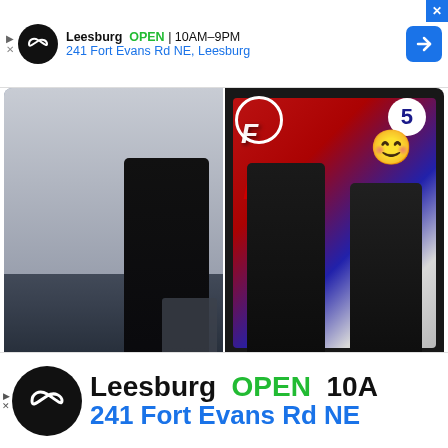[Figure (screenshot): Top advertisement banner for F45 Training Leesburg: logo circle with infinity-style icon, text 'Leesburg OPEN 10AM-9PM / 241 Fort Evans Rd NE, Leesburg', navigation arrow icon, close X button in blue corner]
[Figure (photo): Two side-by-side photos from a tweet. Left: two men in dark athletic wear standing near exercise equipment in a gym studio. Right: two people standing in front of an F45 Training branded banner/sign, one person's face replaced by a smiley emoji.]
8:06 PM · May 9, 2022 from F45 Training Coral Gabl...
♡ 1   Reply   Copy link
Explore what's happening on Twitter
[Figure (screenshot): Bottom advertisement banner for F45 Training Leesburg (larger version): large circle logo in black with infinity-style icon, bold text 'Leesburg OPEN 10A...' and '241 Fort Evans Rd NE...' in blue, cut off on right edge]